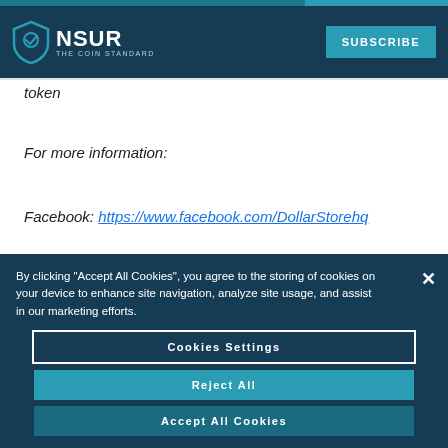NSUR - THE COIN STANDARD | SUBSCRIBE
token
For more information:
Facebook: https://www.facebook.com/DollarStorehq
By clicking “Accept All Cookies”, you agree to the storing of cookies on your device to enhance site navigation, analyze site usage, and assist in our marketing efforts.
Cookies Settings
Reject All
Accept All Cookies